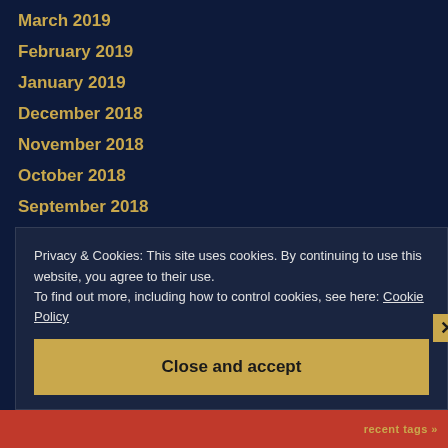March 2019
February 2019
January 2019
December 2018
November 2018
October 2018
September 2018
August 2018
July 2018
May 2018
April 2018
Privacy & Cookies: This site uses cookies. By continuing to use this website, you agree to their use. To find out more, including how to control cookies, see here: Cookie Policy
Close and accept